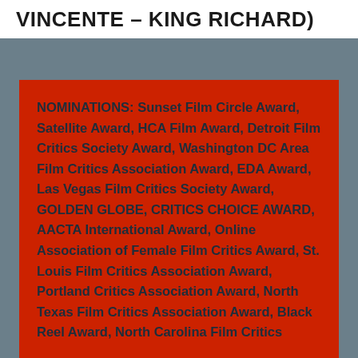VINCENTE – KING RICHARD)
NOMINATIONS: Sunset Film Circle Award, Satellite Award, HCA Film Award, Detroit Film Critics Society Award, Washington DC Area Film Critics Association Award, EDA Award, Las Vegas Film Critics Society Award, GOLDEN GLOBE, CRITICS CHOICE AWARD, AACTA International Award, Online Association of Female Film Critics Award, St. Louis Film Critics Association Award, Portland Critics Association Award, North Texas Film Critics Association Award, Black Reel Award, North Carolina Film Critics